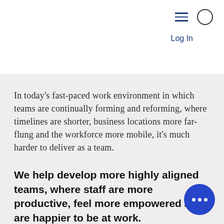Log In
In today's fast-paced work environment in which teams are continually forming and reforming, where timelines are shorter, business locations more far-flung and the workforce more mobile, it's much harder to deliver as a team.
We help develop more highly aligned teams, where staff are more productive, feel more empowered and are happier to be at work.